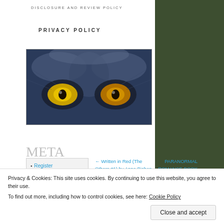DISCLOSURE AND REVIEW POLICY
PRIVACY POLICY
[Figure (photo): Close-up of wolf eyes with yellow/amber irises against blue-gray fur]
META
Register
Log in
Entries feed
← Written in Red (The Others #1) by Anne Bishop
PARANORMAL ROMANCE BOOK REVIEW- WICKED
[Figure (logo): RSS feed icon - red rounded square with white RSS signal symbol]
Privacy & Cookies: This site uses cookies. By continuing to use this website, you agree to their use.
To find out more, including how to control cookies, see here: Cookie Policy
Close and accept
Follow